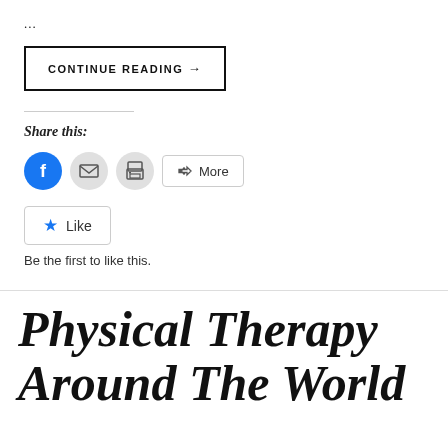...
CONTINUE READING →
Share this:
[Figure (infographic): Social share icons: Facebook (blue circle), email (grey circle), print (grey circle), and a More button with share icon]
Like
Be the first to like this.
Physical Therapy Around The World